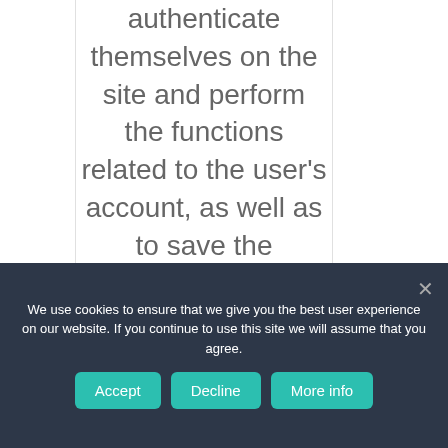authenticate themselves on the site and perform the functions related to the user's account, as well as to save the contents of
We use cookies to ensure that we give you the best user experience on our website. If you continue to use this site we will assume that you agree.